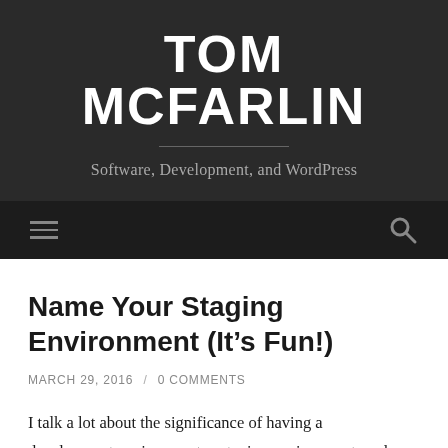TOM MCFARLIN
Software, Development, and WordPress
Navigation bar with hamburger menu and search icon
Name Your Staging Environment (It's Fun!)
MARCH 29, 2016 / 0 COMMENTS
I talk a lot about the significance of having a development environment, a staging environment, and a